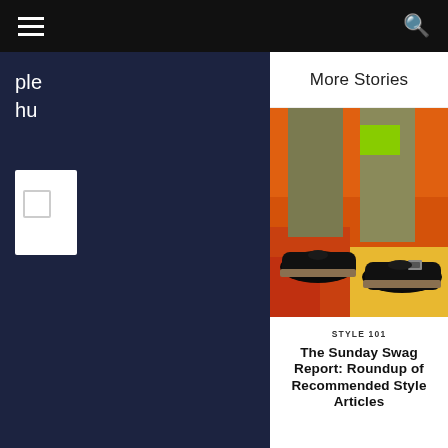Navigation bar with hamburger menu and search icon
More Stories
[Figure (photo): Close-up photo of two black dress shoes (one Oxford and one monk strap) being worn with olive/khaki trousers, standing on a colorful painted surface with orange and red graffiti background]
STYLE 101
The Sunday Swag Report: Roundup of Recommended Style Articles